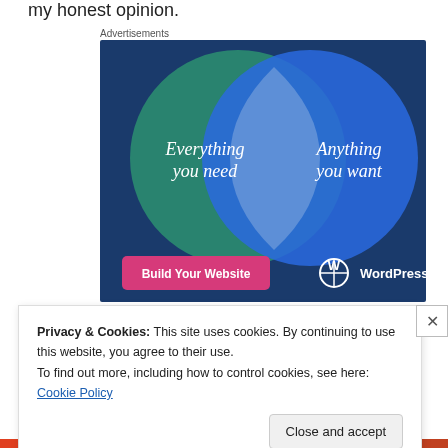my honest opinion.
Advertisements
[Figure (illustration): WordPress.com advertisement with a Venn diagram showing two overlapping circles — left circle (teal/green) labeled 'Everything you need', right circle (blue) labeled 'Anything you want'. Below: a pink button 'Build Your Website' and the WordPress.com logo.]
Privacy & Cookies: This site uses cookies. By continuing to use this website, you agree to their use.
To find out more, including how to control cookies, see here: Cookie Policy